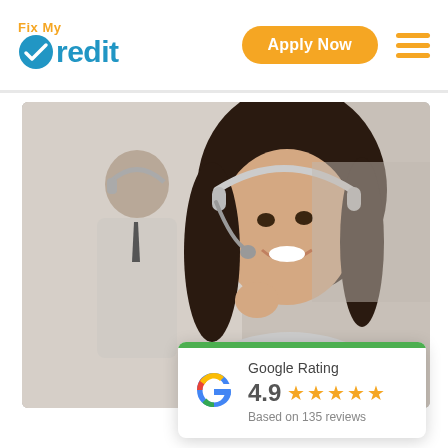[Figure (logo): Fix My Credit logo with orange 'Fix My' text above blue 'Credit' text with a blue checkmark circle icon]
Apply Now
[Figure (photo): Customer service representatives wearing headsets, a smiling woman in foreground and a man in background, office call center setting]
Google Rating
4.9
Based on 135 reviews